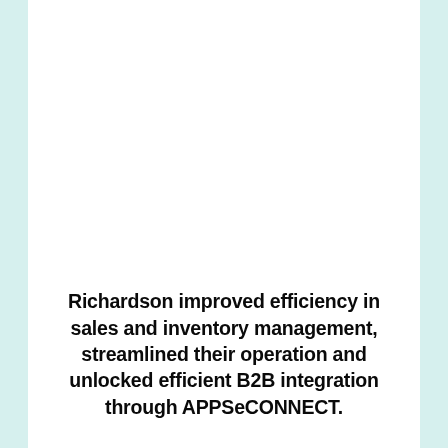Richardson improved efficiency in sales and inventory management, streamlined their operation and unlocked efficient B2B integration through APPSeCONNECT.